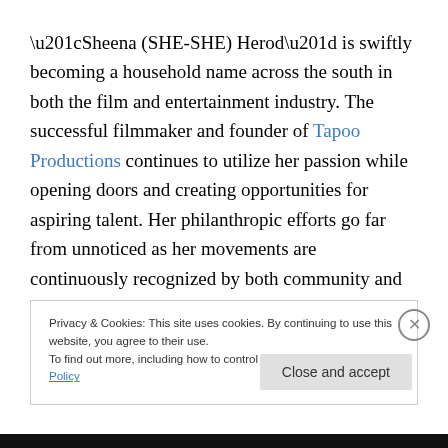“Sheena (SHE-SHE) Herod” is swiftly becoming a household name across the south in both the film and entertainment industry. The successful filmmaker and founder of Tapoo Productions continues to utilize her passion while opening doors and creating opportunities for aspiring talent. Her philanthropic efforts go far from unnoticed as her movements are continuously recognized by both community and industry leaders.
Privacy & Cookies: This site uses cookies. By continuing to use this website, you agree to their use. To find out more, including how to control cookies, see here: Cookie Policy